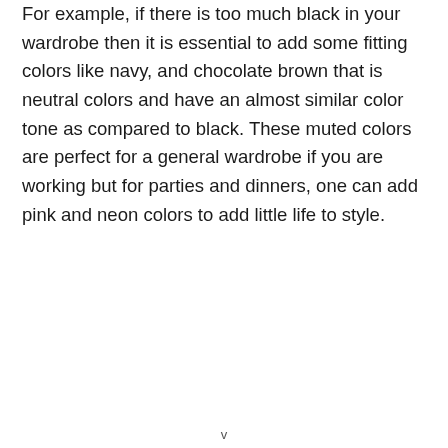For example, if there is too much black in your wardrobe then it is essential to add some fitting colors like navy, and chocolate brown that is neutral colors and have an almost similar color tone as compared to black. These muted colors are perfect for a general wardrobe if you are working but for parties and dinners, one can add pink and neon colors to add little life to style.
v